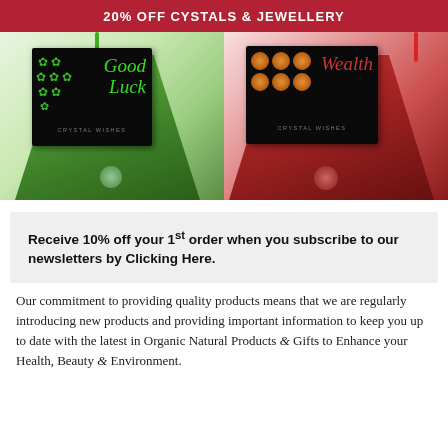20% OFF CYSTALS & JEWELLERY
[Figure (photo): Two crystal wish gift bags side by side: left is a green organza bag with a black card reading 'Good Luck' with clover symbols and 'Crystal Wishes'; right is a red organza bag with a black card reading 'Wealth' with coin symbols and 'Crystal Wishes'.]
Receive 10% off your 1st order when you subscribe to our newsletters by Clicking Here.
Our commitment to providing quality products means that we are regularly introducing new products and providing important information to keep you up to date with the latest in Organic Natural Products & Gifts to Enhance your Health, Beauty & Environment.